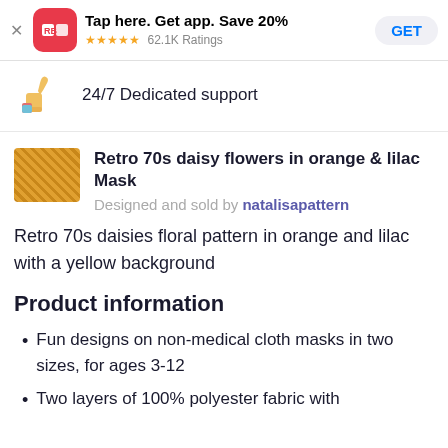Tap here. Get app. Save 20% ★★★★★ 62.1K Ratings GET
[Figure (illustration): Thumbs up icon illustration next to text '24/7 Dedicated support']
24/7 Dedicated support
Retro 70s daisy flowers in orange & lilac Mask
Designed and sold by natalisapattern
Retro 70s daisies floral pattern in orange and lilac with a yellow background
Product information
Fun designs on non-medical cloth masks in two sizes, for ages 3-12
Two layers of 100% polyester fabric with